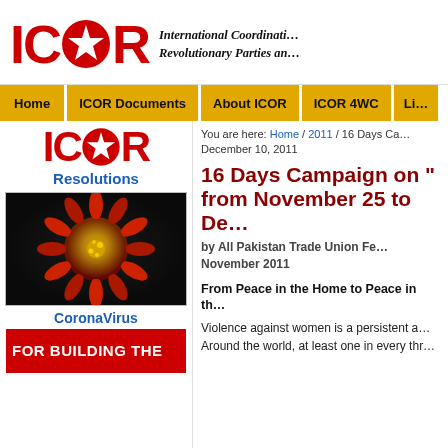[Figure (logo): ICOR logo with red letters and star, alongside italic tagline 'International Coordination of Revolutionary Parties and...']
Home | ICOR Documents | About ICOR | ICOR 4WC | Li...
[Figure (logo): ICOR logo smaller version in red on sidebar]
Resolutions
[Figure (photo): Coronavirus illustration showing red spiky virus particle with golden center]
CoronaVirus
[Figure (photo): Red banner with white bold text 'FOR BUILDING THE']
You are here: Home / 2011 / 16 Days Ca... December 10, 2011
16 Days Campaign on "...from November 25 to De...
by All Pakistan Trade Union Fe... November 2011
From Peace in the Home to Peace in th...
Violence against women is a persistent a... Around the world, at least one in every thr...